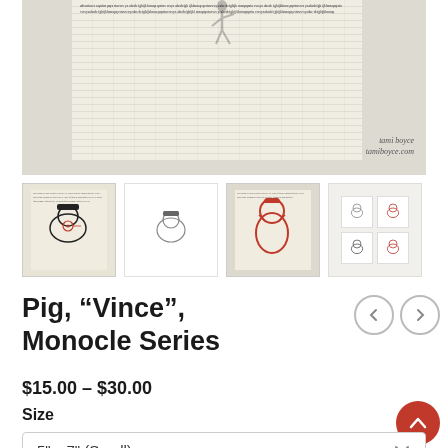[Figure (photo): Main product image showing artwork on newspaper background with artist credit 'tami boyce tamiboyce.com']
[Figure (photo): Thumbnail 1: Pig with top hat monocle series artwork on newspaper background]
[Figure (photo): Thumbnail 2: Pig artwork in white frame]
[Figure (photo): Thumbnail 3: Rooster/chicken artwork in red on newspaper]
[Figure (photo): Thumbnail 4: Gallery wall with four framed artworks]
Pig, “Vince”, Monocle Series
$15.00 – $30.00
Size
5" x 7" (Small)